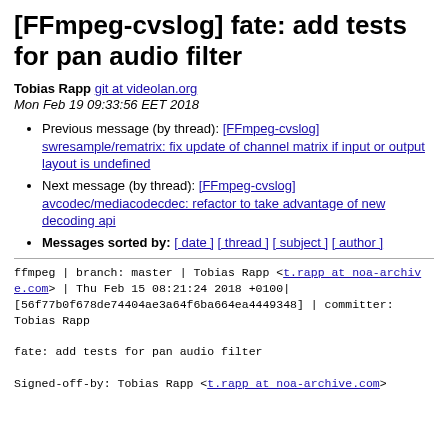[FFmpeg-cvslog] fate: add tests for pan audio filter
Tobias Rapp git at videolan.org
Mon Feb 19 09:33:56 EET 2018
Previous message (by thread): [FFmpeg-cvslog] swresample/rematrix: fix update of channel matrix if input or output layout is undefined
Next message (by thread): [FFmpeg-cvslog] avcodec/mediacodecdec: refactor to take advantage of new decoding api
Messages sorted by: [ date ] [ thread ] [ subject ] [ author ]
ffmpeg | branch: master | Tobias Rapp <t.rapp at noa-archive.com> | Thu Feb 15 08:21:24 2018 +0100|
[56f77b0f678de74404ae3a64f6ba664ea4449348] | committer: Tobias Rapp

fate: add tests for pan audio filter

Signed-off-by: Tobias Rapp <t.rapp at noa-archive.com>